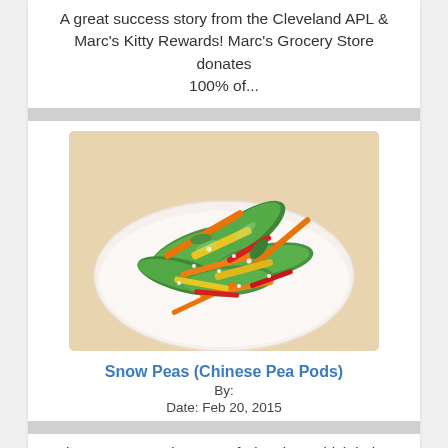A great success story from the Cleveland APL & Marc's Kitty Rewards! Marc's Grocery Store donates 100% of...
[Figure (photo): A colorful dish of snow peas (Chinese pea pods) stir-fry with carrots, yellow and red peppers on a white plate]
Snow Peas (Chinese Pea Pods)
By:
Date: Feb 20, 2015
These are a good source of Vitamin K which helps